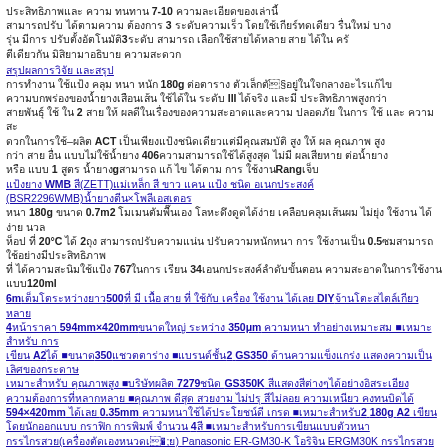7-10
3
3
180g III 2 ACT 406 1 g Rang
WMB (ZETT) (BSR2296WMB)×
180g 0.7m2 20°C 2 0.5 767 34 120ml
6m 500 DIY 4 594mm×420mm 350μm A2 350 2 GS350 7279 GS350K 594×420mm 0.35mm 2 180g A2 4
Panasonic ER-GM30-K ERGM30K